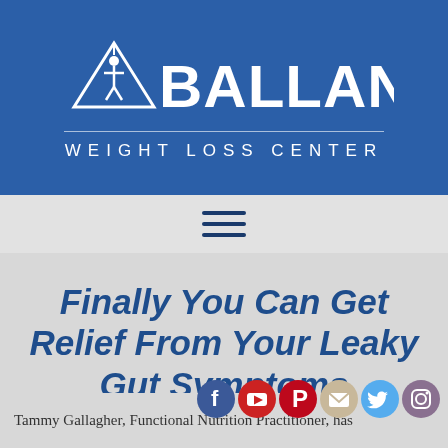[Figure (logo): Ballantyne Weight Loss Center logo with triangle/person icon, white text on blue background]
Finally You Can Get Relief From Your Leaky Gut Symptoms
Tammy Gallagher, Functional Nutrition Practitioner, has